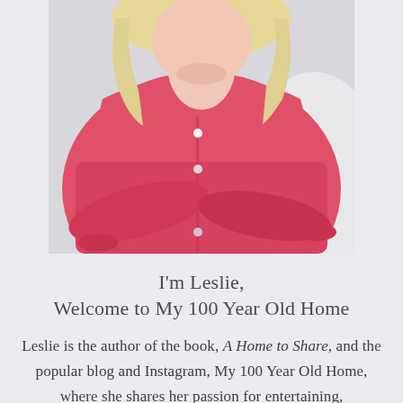[Figure (photo): A woman with blonde hair wearing a coral/pink button-down shirt, seated, photographed from shoulders down, light background.]
I'm Leslie,
Welcome to My 100 Year Old Home
Leslie is the author of the book, A Home to Share, and the popular blog and Instagram, My 100 Year Old Home, where she shares her passion for entertaining,